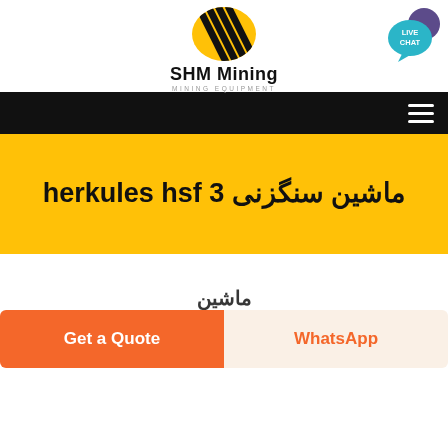[Figure (logo): SHM Mining logo with diagonal black stripes on yellow oval background, bold text SHM Mining and subtitle MINING EQUIPMENT]
SHM Mining
MINING EQUIPMENT
[Figure (illustration): Live Chat speech bubble icon in teal/purple colors, top right corner]
[Figure (illustration): Black navigation bar with hamburger menu icon (three white lines)]
ماشین سنگزنی herkules hsf 3
(partial/cropped Arabic/Persian text visible at bottom)
Get a Quote
WhatsApp